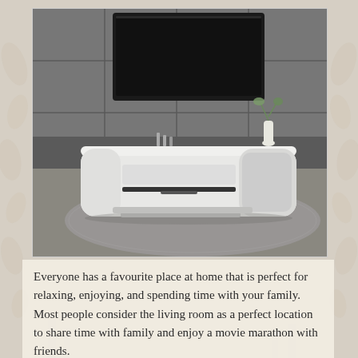[Figure (photo): A modern white TV console/media unit with rounded corners and drawers, placed in a stylish living room with dark grey tile walls, a large TV mounted above, decorative vases, and a grey plush area rug on the floor.]
Everyone has a favourite place at home that is perfect for relaxing, enjoying, and spending time with your family. Most people consider the living room as a perfect location to share time with family and enjoy a movie marathon with friends.